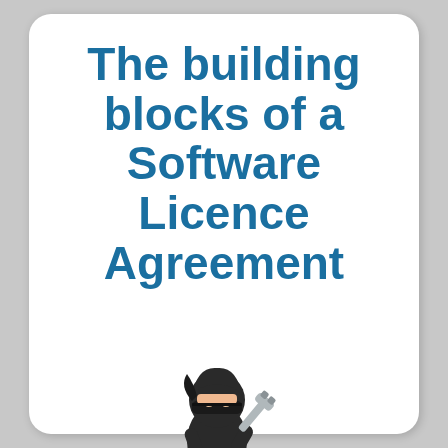The building blocks of a Software Licence Agreement
[Figure (illustration): Cartoon ninja character dressed in black, holding a wrench, standing on a small green mound]